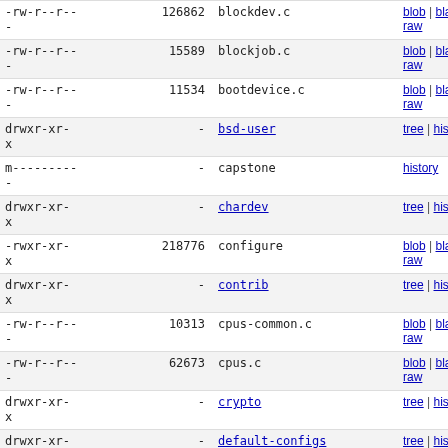| permissions | size | name | links |
| --- | --- | --- | --- |
| -rw-r--r-- | 126862 | blockdev.c | blob | blame | history | raw |
| -rw-r--r-- | 15589 | blockjob.c | blob | blame | history | raw |
| -rw-r--r-- | 11534 | bootdevice.c | blob | blame | history | raw |
| drwxr-xr-x | - | bsd-user | tree | history |
| m--------- | - | capstone | history |
| drwxr-xr-x | - | chardev | tree | history |
| -rwxr-xr-x | 218776 | configure | blob | blame | history | raw |
| drwxr-xr-x | - | contrib | tree | history |
| -rw-r--r-- | 10313 | cpus-common.c | blob | blame | history | raw |
| -rw-r--r-- | 62673 | cpus.c | blob | blame | history | raw |
| drwxr-xr-x | - | crypto | tree | history |
| drwxr-xr-x | - | default-configs | tree | history |
| -rw-r--r-- | 2615 | device-hotplug.c | blob | blame | history | raw |
| -rw-r--r-- | 14904 | device_tree.c | blob | blame | history | raw |